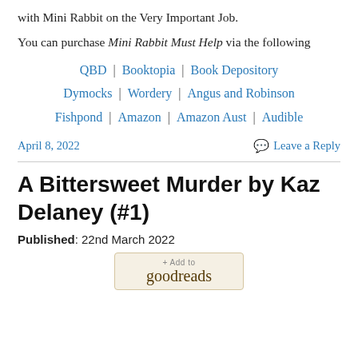with Mini Rabbit on the Very Important Job.
You can purchase Mini Rabbit Must Help via the following
QBD | Booktopia | Book Depository
Dymocks | Wordery | Angus and Robinson
Fishpond | Amazon | Amazon Aust | Audible
April 8, 2022
Leave a Reply
A Bittersweet Murder by Kaz Delaney (#1)
Published: 22nd March 2022
[Figure (other): Goodreads Add to button widget]